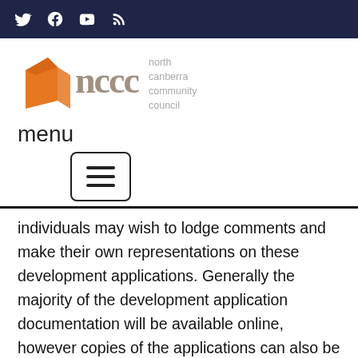Social media icons: Twitter, Facebook, YouTube, RSS
[Figure (logo): North Canberra Community Council logo with orange angular shape and 'nccc' lettering in grey, with text 'north canberra community council']
menu
[Figure (other): Hamburger menu button icon with three horizontal lines inside a rounded rectangle border]
individuals may wish to lodge comments and make their own representations on these development applications. Generally the majority of the development application documentation will be available online, however copies of the applications can also be inspected at the ACTPLA Customer Service Centre, Dame Pattie Menzies House, Ground Floor (South), 16 Challis Street